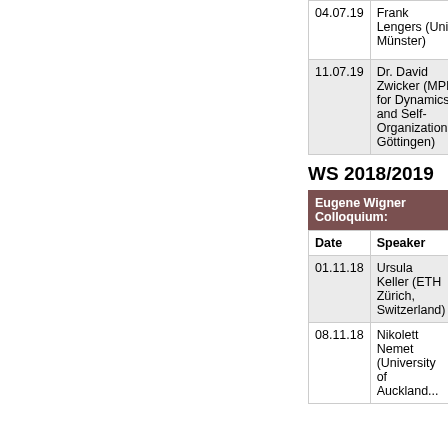| Date | Speaker | Title |
| --- | --- | --- |
| 04.07.19 | Frank Lengers (Uni Münster) | [red/cropped text] |
| 11.07.19 | Dr. David Zwicker (MPI for Dynamics and Self-Organization, Göttingen) | [red/cropped text] |
WS 2018/2019
| Eugene Wigner Colloquium: |  |
| --- | --- |
| Date | Speaker |
| 01.11.18 | Ursula Keller (ETH Zürich, Switzerland) |
| 08.11.18 | Nikolett Nemet (University of Auckland... |